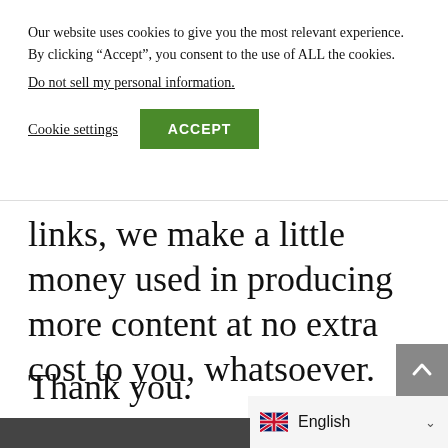Our website uses cookies to give you the most relevant experience. By clicking “Accept”, you consent to the use of ALL the cookies.
Do not sell my personal information.
Cookie settings  ACCEPT
links, we make a little money used in producing more content at no extra cost to you, whatsoever.
Thank you.
[Figure (screenshot): Bottom of webpage showing language selector with UK flag and 'English' text, a grey scroll-to-top button with upward chevron, and a partial dark photo strip at the bottom left.]